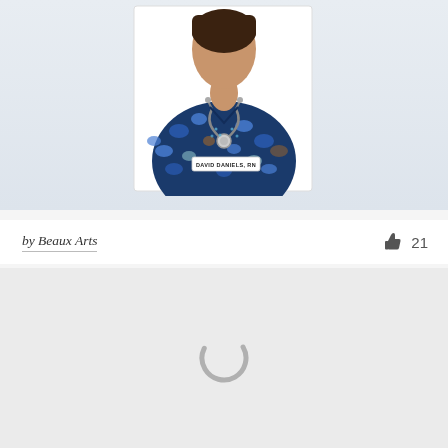[Figure (illustration): Upper portion of a nurse illustrated figure wearing blue patterned scrubs with a stethoscope and a name badge reading 'DAVID DANIELS, RN'. The figure is shown as a printed card or book cover against a light blue-grey background.]
by Beaux Arts
21
[Figure (other): Loading spinner (grey circular arc spinner) centered in a light grey rectangle area, indicating content is being loaded.]